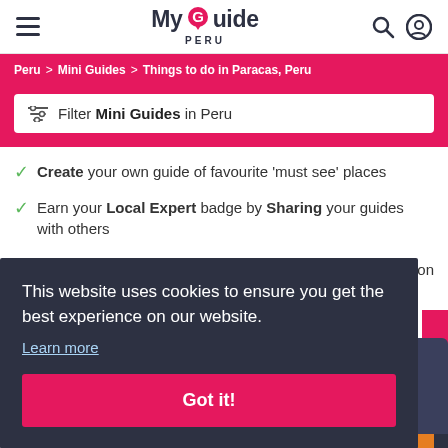My Guide PERU
Peru > Mini Guides > Things to do in Paracas, Peru
Filter Mini Guides in Peru
Create your own guide of favourite 'must see' places
Earn your Local Expert badge by Sharing your guides with others
This website uses cookies to ensure you get the best experience on our website.
Learn more
Got it!